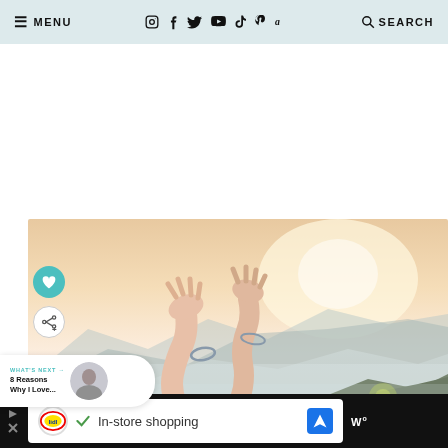≡ MENU  [social icons: Instagram, Facebook, Twitter, YouTube, TikTok, Pinterest, Amazon]  🔍 SEARCH
[Figure (photo): Person raising arms/hands toward misty mountain landscape at sunset/golden hour. Hands and forearms visible with bracelets.]
WHAT'S NEXT → 8 Reasons Why I Love...
[Figure (photo): Small circular thumbnail of a person]
Lidl In-store shopping [advertisement banner]